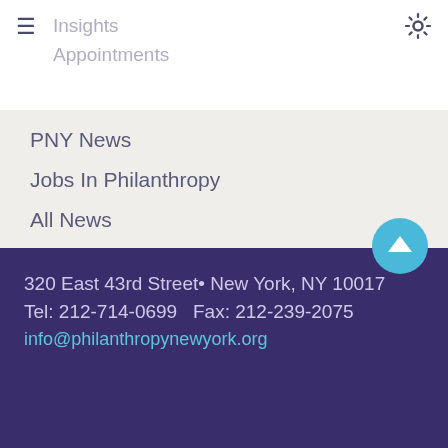Insights
Appointments
PNY News
Jobs In Philanthropy
All News
FOR GRANTSEEKERS
Resources
Common Grant Application
Common Grant Report
320 East 43rd Street• New York, NY 10017
Tel: 212-714-0699   Fax: 212-239-2075
info@philanthropynewyork.org